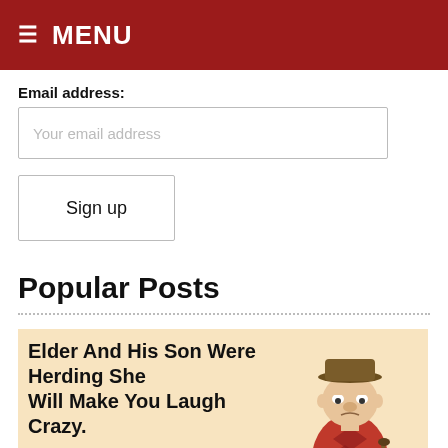≡ MENU
Email address:
Your email address
Sign up
Popular Posts
[Figure (illustration): Article card with peach/tan background showing partial headline 'Elder And His Son Were Herding She... Will Make You Laugh Crazy.' and text about NASA Apollo training on Navajo reservation, with cartoon illustration of a short stout elder man with a hat and walking stick.]